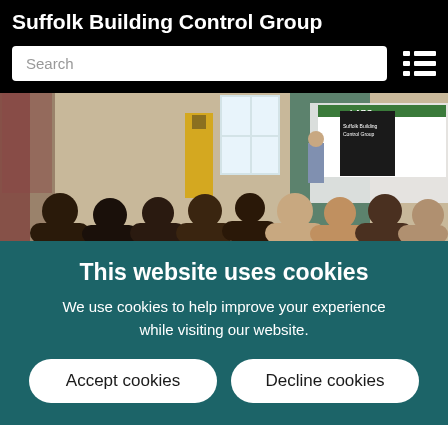Suffolk Building Control Group
[Figure (photo): A conference or seminar room with people seated watching a presenter standing near a projector screen showing a LABC logo slide. Suffolk Building Control Group banners visible.]
This website uses cookies
We use cookies to help improve your experience while visiting our website.
Accept cookies
Decline cookies